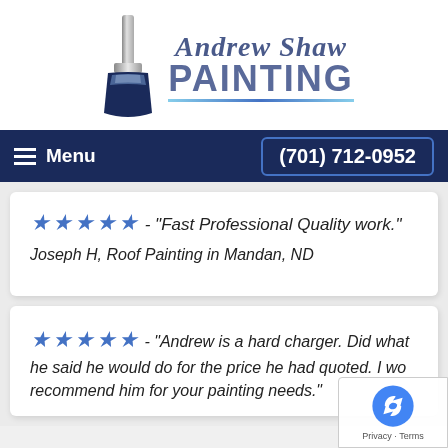[Figure (logo): Andrew Shaw Painting logo with paint brush graphic, company name in blue italic serif font for 'Andrew Shaw' and bold sans-serif for 'PAINTING', with a blue gradient underline]
[Figure (screenshot): Navigation bar with dark navy background, hamburger menu icon with 'Menu' text on left, and phone number '(701) 712-0952' in a bordered button on the right]
★★★★★ - "Fast Professional Quality work."
Joseph H, Roof Painting in Mandan, ND
★★★★★ - "Andrew is a hard charger. Did what he said he would do for the price he had quoted. I wo recommend him for your painting needs."